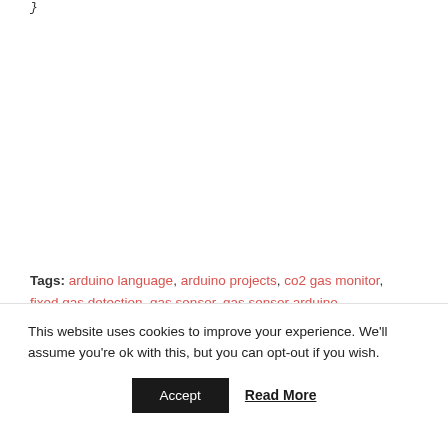}
Tags: arduino language, arduino projects, co2 gas monitor, fixed gas detection, gas sensor, gas sensor arduino, gas sensor arduino code, gas sensor arduino hookup, gas sensor pinout, gas sensor wiring, gas sensor working principle, hazardous gas monitors, natural gas detection, safety gas detection, smoke gas detector, toxic gas monitor
This website uses cookies to improve your experience. We'll assume you're ok with this, but you can opt-out if you wish.
Accept
Read More